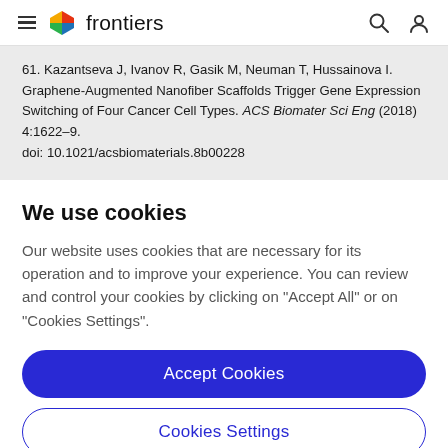frontiers
61. Kazantseva J, Ivanov R, Gasik M, Neuman T, Hussainova I. Graphene-Augmented Nanofiber Scaffolds Trigger Gene Expression Switching of Four Cancer Cell Types. ACS Biomater Sci Eng (2018) 4:1622–9. doi: 10.1021/acsbiomaterials.8b00228
We use cookies
Our website uses cookies that are necessary for its operation and to improve your experience. You can review and control your cookies by clicking on "Accept All" or on "Cookies Settings".
Accept Cookies
Cookies Settings